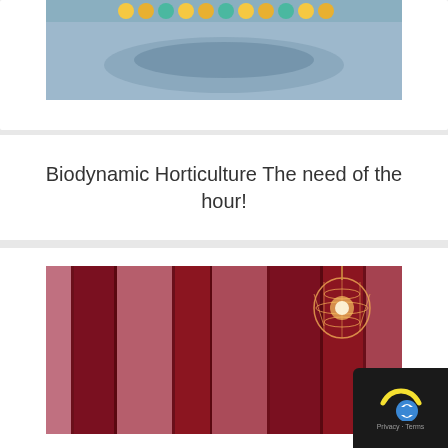[Figure (photo): Partial top image showing a colorful patterned surface with blues and yellows against a gray background]
Biodynamic Horticulture The need of the hour!
[Figure (photo): Interior room with dark red/maroon vertical panels on walls and a cage-style pendant light bulb in the upper right corner. A reCAPTCHA privacy widget overlay appears in the bottom right corner.]